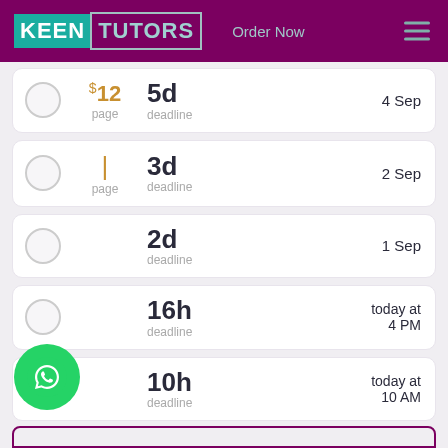KEEN TUTORS — Order Now
$12 per page — 5d deadline — 4 Sep
per page — 3d deadline — 2 Sep
per page — 2d deadline — 1 Sep
per page — 16h deadline — today at 4 PM
per page — 10h deadline — today at 10 AM
[Figure (logo): WhatsApp green chat bubble icon]